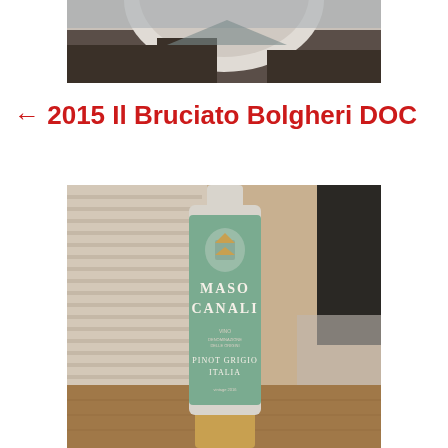[Figure (photo): Partial photo of a landscape scene with mountains and a round/dome object, cropped at the top of the page]
← 2015 Il Bruciato Bolgheri DOC
[Figure (photo): Photo of a Maso Canali Pinot Grigio Italia wine bottle with a mint/sage green label showing a coat of arms, placed on a wooden surface with window blinds in the background]